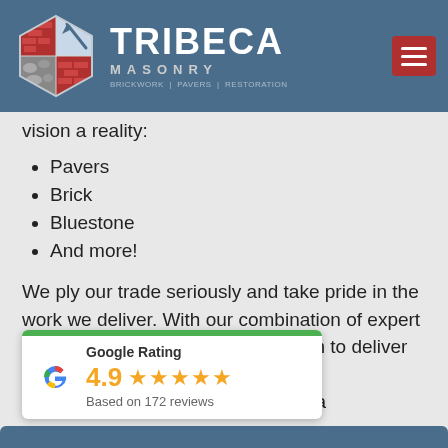[Figure (logo): Tribeca Masonry logo with hexagonal brick/stone icon and navigation hamburger menu on blue header background]
vision a reality:
Pavers
Brick
Bluestone
And more!
We ply our trade seriously and take pride in the work we deliver. With our combination of expert artisanship p[...] als, we aim to deliver s[...] ed and manufactured w[...] ments, catch the eye, a[...]
[Figure (infographic): Google Rating widget: 4.9 stars, Based on 172 reviews, with green progress bar and Google G logo]